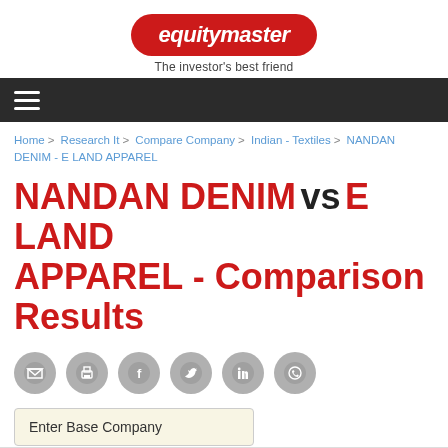[Figure (logo): Equitymaster logo — red pill-shaped badge with white italic bold text 'equitymaster' and tagline 'The investor's best friend' below]
≡  (navigation hamburger menu bar)
Home > Research It > Compare Company > Indian - Textiles > NANDAN DENIM - E LAND APPAREL
NANDAN DENIM vs E LAND APPAREL - Comparison Results
[Figure (infographic): Row of 6 social sharing icon circles (grey): email/share, print, Facebook, Twitter, LinkedIn, WhatsApp]
Enter Base Company
Rs 100 invested in...
300